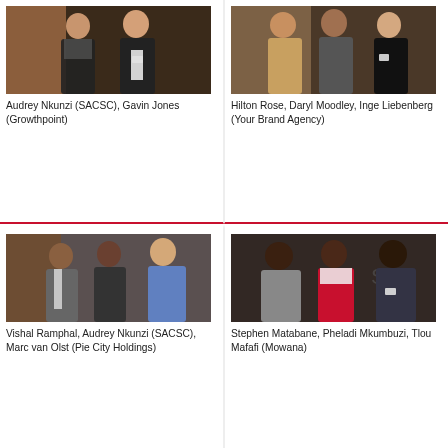[Figure (photo): Two people posing for a photo, a woman and a man wearing name badges at an event.]
Audrey Nkunzi (SACSC), Gavin Jones (Growthpoint)
[Figure (photo): Three people posing for a photo — two men and a woman — at an event.]
Hilton Rose, Daryl Moodley, Inge Liebenberg (Your Brand Agency)
[Figure (photo): Three people posing for a photo — two men and a woman — at an event.]
Vishal Ramphal, Audrey Nkunzi (SACSC), Marc van Olst (Pie City Holdings)
[Figure (photo): Three people posing for a photo — two men and a woman — at an event.]
Stephen Matabane, Pheladi Mkumbuzi, Tlou Mafafi (Mowana)